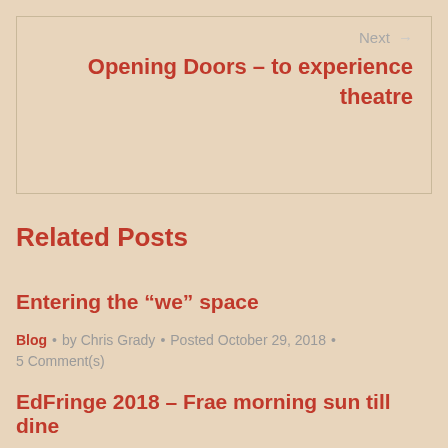Next → Opening Doors – to experience theatre
Related Posts
Entering the “we” space
Blog • by Chris Grady • Posted October 29, 2018 • 5 Comment(s)
EdFringe 2018 – Frae morning sun till dine